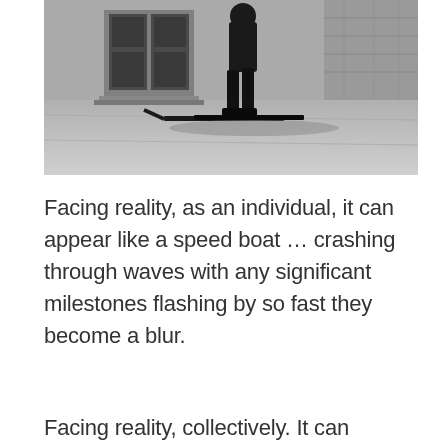[Figure (photo): Black and white photograph of a person walking on city pavement, wearing dark pants and boots, with skis attached to their feet. A building entrance and stone wall are visible in the background.]
Facing reality, as an individual, it can appear like a speed boat … crashing through waves with any significant milestones flashing by so fast they become a blur.
Facing reality, collectively. It can appear